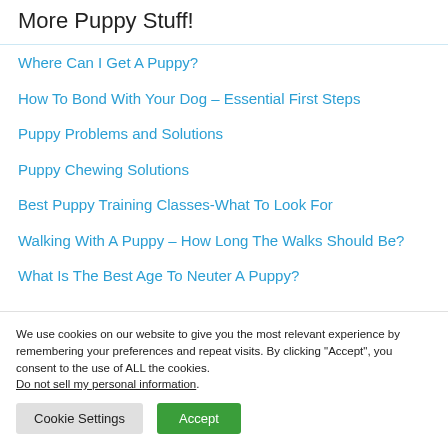More Puppy Stuff!
Where Can I Get A Puppy?
How To Bond With Your Dog – Essential First Steps
Puppy Problems and Solutions
Puppy Chewing Solutions
Best Puppy Training Classes-What To Look For
Walking With A Puppy – How Long The Walks Should Be?
What Is The Best Age To Neuter A Puppy?
We use cookies on our website to give you the most relevant experience by remembering your preferences and repeat visits. By clicking "Accept", you consent to the use of ALL the cookies. Do not sell my personal information.
Cookie Settings | Accept